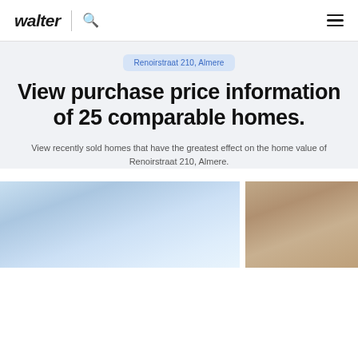walter | [search icon] [menu icon]
Renoirstraat 210, Almere
View purchase price information of 25 comparable homes.
View recently sold homes that have the greatest effect on the home value of Renoirstraat 210, Almere.
[Figure (photo): Two blurred property photos side by side at the bottom of the page]